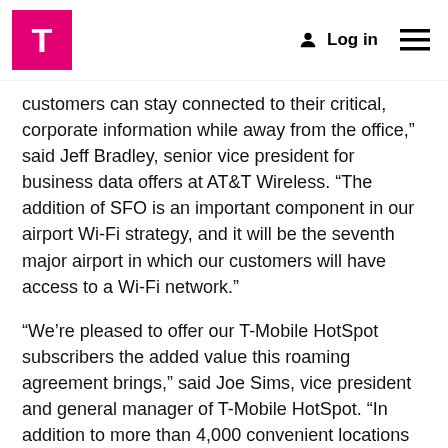T-Mobile logo, Log in, Menu
customers can stay connected to their critical, corporate information while away from the office,” said Jeff Bradley, senior vice president for business data offers at AT&T Wireless. “The addition of SFO is an important component in our airport Wi-Fi strategy, and it will be the seventh major airport in which our customers will have access to a Wi-Fi network.”
“We’re pleased to offer our T-Mobile HotSpot subscribers the added value this roaming agreement brings,” said Joe Sims, vice president and general manager of T-Mobile HotSpot. “In addition to more than 4,000 convenient locations our subscribers can visit today, they will soon have even more airports where they can stay connected to important information during a